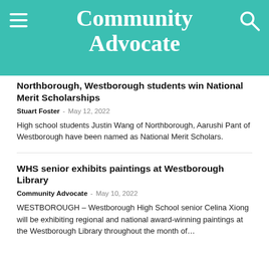Community Advocate
Northborough, Westborough students win National Merit Scholarships
Stuart Foster · May 12, 2022
High school students Justin Wang of Northborough, Aarushi Pant of Westborough have been named as National Merit Scholars.
WHS senior exhibits paintings at Westborough Library
Community Advocate · May 10, 2022
WESTBOROUGH – Westborough High School senior Celina Xiong will be exhibiting regional and national award-winning paintings at the Westborough Library throughout the month of…